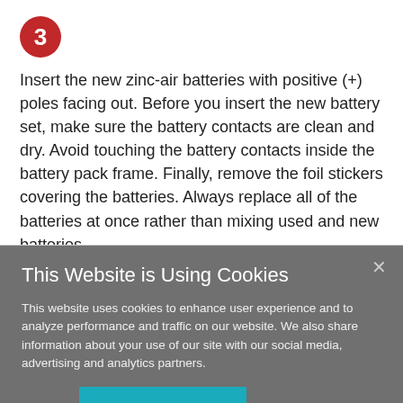3 Insert the new zinc-air batteries with positive (+) poles facing out. Before you insert the new battery set, make sure the battery contacts are clean and dry. Avoid touching the battery contacts inside the battery pack frame. Finally, remove the foil stickers covering the batteries. Always replace all of the batteries at once rather than mixing used and new batteries.
This Website is Using Cookies
This website uses cookies to enhance user experience and to analyze performance and traffic on our website. We also share information about your use of our site with our social media, advertising and analytics partners.